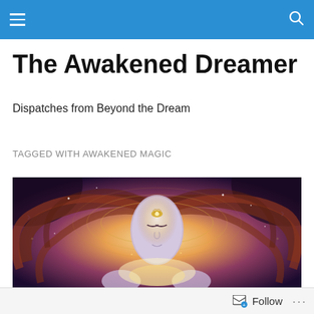Navigation bar with hamburger menu and search icon
The Awakened Dreamer
Dispatches from Beyond the Dream
TAGGED WITH AWAKENED MAGIC
[Figure (illustration): Fantasy illustration of a serene female figure with flowing auburn hair spreading outward with cosmic energy, glowing third eye symbol on forehead, hands raised with light emanating from them, mystical symbols surrounding her.]
Follow ...